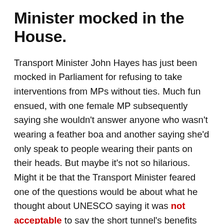Minister mocked in the House.
Transport Minister John Hayes has just been mocked in Parliament for refusing to take interventions from MPs without ties. Much fun ensued, with one female MP subsequently saying she wouldn't answer anyone who wasn't wearing a feather boa and another saying she'd only speak to people wearing their pants on their heads. But maybe it's not so hilarious. Might it be that the Transport Minister feared one of the questions would be about what he thought about UNESCO saying it was not acceptable to say the short tunnel's benefits outweighed the damage?
English Heritage, Historic England and the National Trust have taken a different route. They too have opted to answer no questions from people without ties, or with